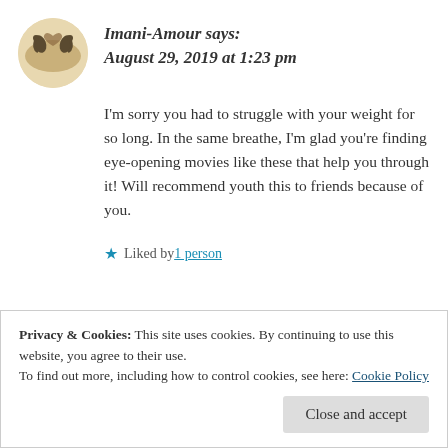Imani-Amour says:
August 29, 2019 at 1:23 pm
I'm sorry you had to struggle with your weight for so long. In the same breathe, I'm glad you're finding eye-opening movies like these that help you through it! Will recommend youth this to friends because of you.
Liked by 1 person
Privacy & Cookies: This site uses cookies. By continuing to use this website, you agree to their use.
To find out more, including how to control cookies, see here: Cookie Policy
Close and accept